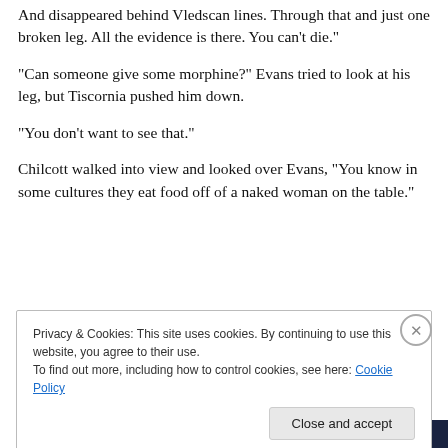And disappeared behind Vledscan lines. Through that and just one broken leg. All the evidence is there. You can’t die.”
“Can someone give some morphine?” Evans tried to look at his leg, but Tiscornia pushed him down.
“You don’t want to see that.”
Chilcott walked into view and looked over Evans, “You know in some cultures they eat food off of a naked woman on the table.”
Privacy & Cookies: This site uses cookies. By continuing to use this website, you agree to their use.
To find out more, including how to control cookies, see here: Cookie Policy
Close and accept